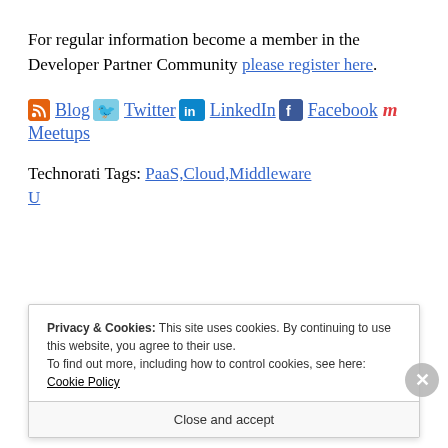For regular information become a member in the Developer Partner Community please register here.
Blog  Twitter  LinkedIn  Facebook  Meetups
Technorati Tags: PaaS,Cloud,Middleware
Privacy & Cookies: This site uses cookies. By continuing to use this website, you agree to their use. To find out more, including how to control cookies, see here: Cookie Policy
Close and accept